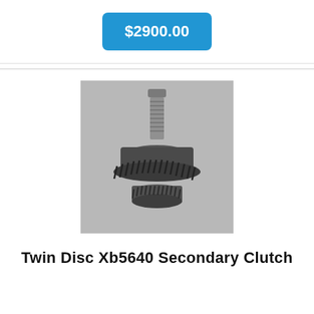$2900.00
[Figure (photo): Photo of a Twin Disc Xb5640 Secondary Clutch mechanical component — a metal shaft/gear assembly with helical gear teeth and a threaded top, photographed against a gray background.]
Twin Disc Xb5640 Secondary Clutch